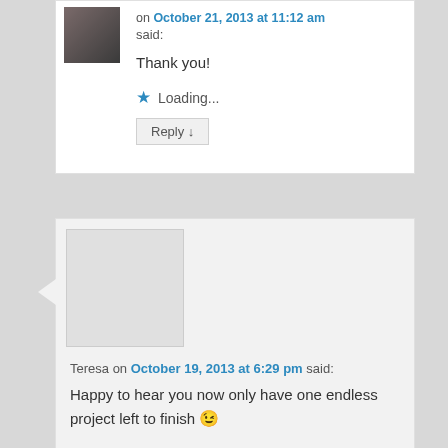on October 21, 2013 at 11:12 am said:
Thank you!
Loading...
Reply ↓
Teresa on October 19, 2013 at 6:29 pm said:
Happy to hear you now only have one endless project left to finish 😉
Loading...
Reply ↓